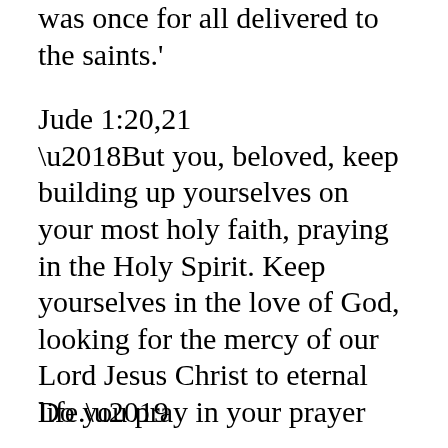earnestly for the faith which was once for all delivered to the saints.'
Jude 1:20,21
‘But you, beloved, keep building up yourselves on your most holy faith, praying in the Holy Spirit. Keep yourselves in the love of God, looking for the mercy of our Lord Jesus Christ to eternal life.’
Do you pray in your prayer